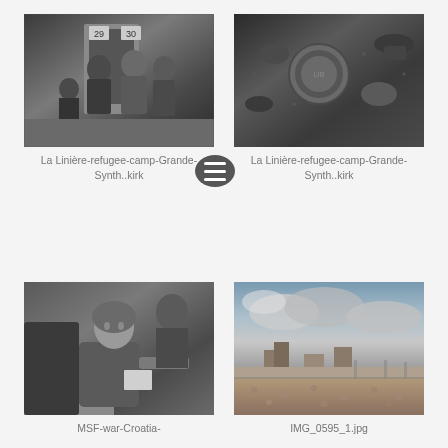[Figure (photo): Black and white photo of people standing near a doorway with numbers 29 and 30 visible]
La Linière-refugee-camp-Grande-Synth..kirk
[Figure (photo): Black and white overhead photo of food bowls and people's feet]
La Linière-refugee-camp-Grande-Synth..kirk
[Figure (photo): Black and white photo of an elderly woman with headscarf sitting]
MSF-war-Croatia-
[Figure (photo): Color photo of a rooftop area with cloudy sky and buildings]
IMG_0595_1.jpg